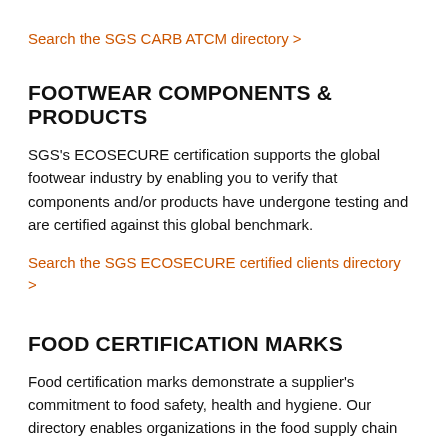Search the SGS CARB ATCM directory >
FOOTWEAR COMPONENTS & PRODUCTS
SGS's ECOSECURE certification supports the global footwear industry by enabling you to verify that components and/or products have undergone testing and are certified against this global benchmark.
Search the SGS ECOSECURE certified clients directory >
FOOD CERTIFICATION MARKS
Food certification marks demonstrate a supplier's commitment to food safety, health and hygiene. Our directory enables organizations in the food supply chain